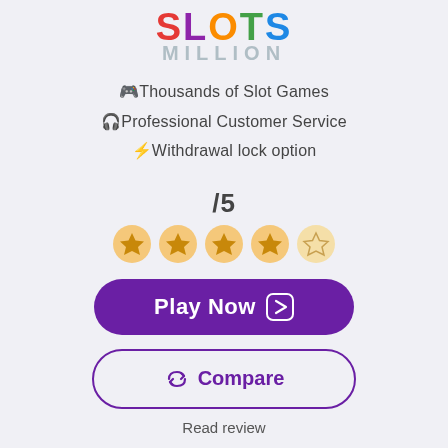[Figure (logo): SlotsMillion casino logo with SLOTS in multicolor bold letters and MILLION in light gray below]
🎮Thousands of Slot Games
🎧Professional Customer Service
⚡Withdrawal lock option
/5
[Figure (other): 4 filled gold stars and 1 empty star rating]
Play Now →
Compare
Read review